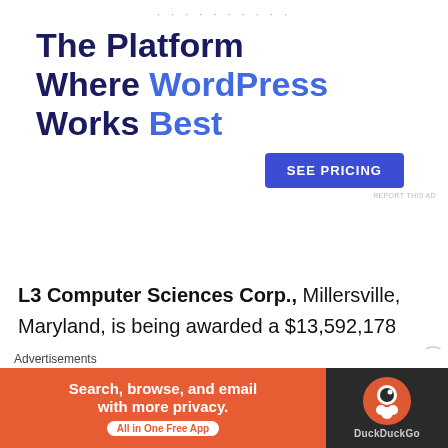[Figure (other): Advertisement banner: 'The Platform Where WordPress Works Best' with a blue 'SEE PRICING' button]
L3 Computer Sciences Corp., Millersville, Maryland, is being awarded a $13,592,178 fixed-price-incentive firm undefinitized contract action modification to a previously awarded contract (N00024-15-C-6275) to exercise an option for the procurement of six TB-29A compact towed
[Figure (other): DuckDuckGo advertisement banner: 'Search, browse, and email with more privacy. All in One Free App']